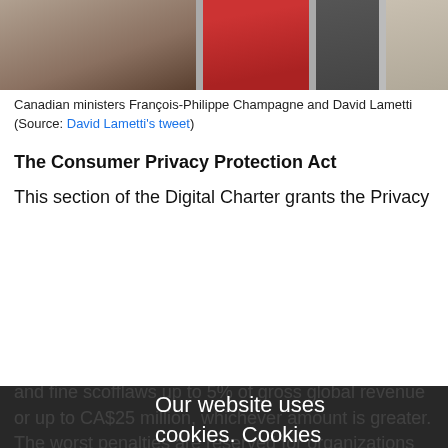[Figure (photo): Photo strip showing Canadian ministers François-Philippe Champagne and David Lametti at the top of the page]
Canadian ministers François-Philippe Champagne and David Lametti (Source: David Lametti's tweet)
The Consumer Privacy Protection Act
This section of the Digital Charter grants the Privacy Commissioner of Canada long-sought-after powers to order a company to stop collecting personal data and fine scofflaws up to 5% of gross global revenue or up to CA$25 million, whichever amount is greater. The worst penalties are reserved for organizations that fail to follow an order or commit willful violations, such as failing to keep records of data breaches. Other infractions are subject to less expensive fines that top out at 3% of gross global revenue or CA$10 million.
The private sector would be obligated to implement a
Our website uses cookies. Cookies enable us to provide the best experience possible and help us understand how visitors use our website. By browsing databreachtoday.co.uk, you agree to our use of cookies.